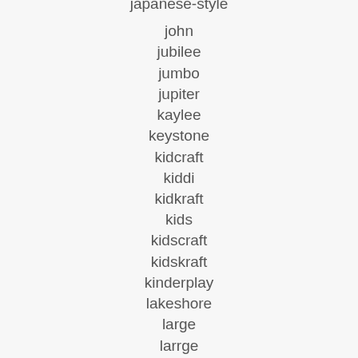japanese-style
john
jubilee
jumbo
jupiter
kaylee
keystone
kidcraft
kiddi
kidkraft
kids
kidscraft
kidskraft
kinderplay
lakeshore
large
larrge
laser
latest
learn
lectromatic